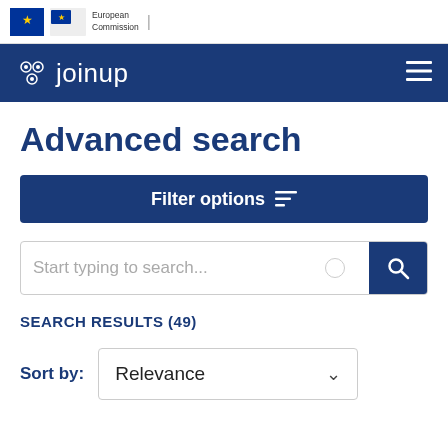[Figure (logo): European Commission logo with EU flag and text 'European Commission']
[Figure (logo): Joinup navigation bar with joinup logo (gear icons) and hamburger menu icon]
Advanced search
Filter options
Start typing to search...
SEARCH RESULTS (49)
Sort by: Relevance